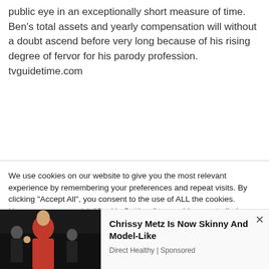public eye in an exceptionally short measure of time. Ben's total assets and yearly compensation will without a doubt ascend before very long because of his rising degree of fervor for his parody profession. tvguidetime.com
We use cookies on our website to give you the most relevant experience by remembering your preferences and repeat visits. By clicking "Accept All", you consent to the use of ALL the cookies. However, you may visit "Cookie Settings" to provide a controlled consent.
[Figure (photo): Photo showing a woman in a red dress at a formal event with people in tuxedos in the background.]
Chrissy Metz Is Now Skinny And Model-Like
Direct Healthy | Sponsored